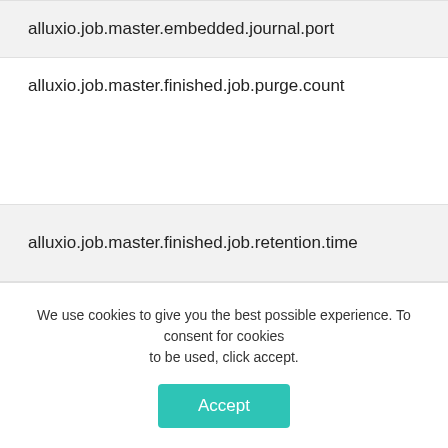alluxio.job.master.embedded.journal.port
alluxio.job.master.finished.job.purge.count
alluxio.job.master.finished.job.retention.time
We use cookies to give you the best possible experience. To consent for cookies to be used, click accept.
Accept
GDPR compliance powered by Autopilot.